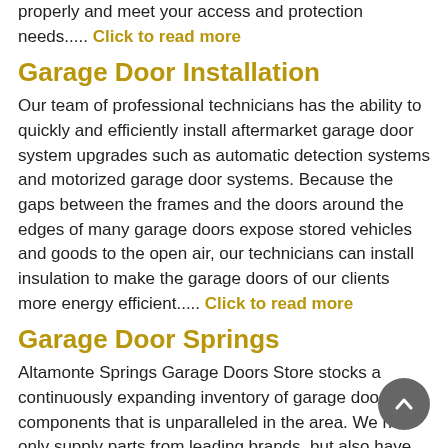properly and meet your access and protection needs..... Click to read more
Garage Door Installation
Our team of professional technicians has the ability to quickly and efficiently install aftermarket garage door system upgrades such as automatic detection systems and motorized garage door systems. Because the gaps between the frames and the doors around the edges of many garage doors expose stored vehicles and goods to the open air, our technicians can install insulation to make the garage doors of our clients more energy efficient..... Click to read more
Garage Door Springs
Altamonte Springs Garage Doors Store stocks a continuously expanding inventory of garage door components that is unparalleled in the area. We not only supply parts from leading brands, but also have generic parts that are inexpensive and of high quality. In and